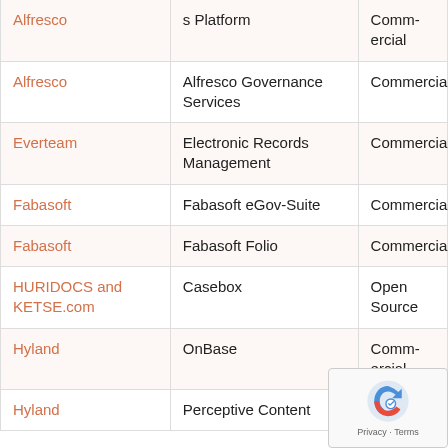| Vendor | Product | License |
| --- | --- | --- |
| Alfresco | Alfresco Business Process Management Platform (partial/top) | Commercial |
| Alfresco | Alfresco Governance Services | Commercial |
| Everteam | Electronic Records Management | Commercial |
| Fabasoft | Fabasoft eGov-Suite | Commercial |
| Fabasoft | Fabasoft Folio | Commercial |
| HURIDOCS and KETSE.com | Casebox | Open Source |
| Hyland | OnBase | Commercial |
| Hyland | Perceptive Content | Comm... |